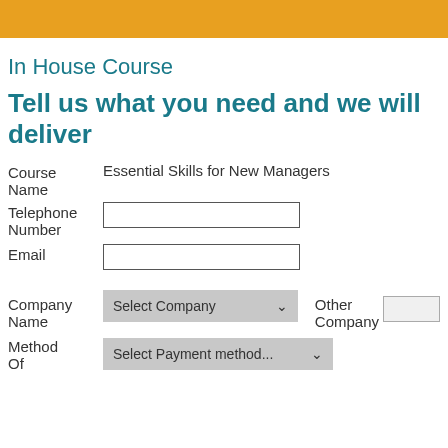[Figure (other): Gold/amber horizontal bar at top of page]
In House Course
Tell us what you need and we will deliver
Course   Essential Skills for New Managers
Name
Telephone Number   [input field]
Email   [input field]
Company Name   Select Company [dropdown]   Other Company [input]
Method Of   Select Payment method... [dropdown]